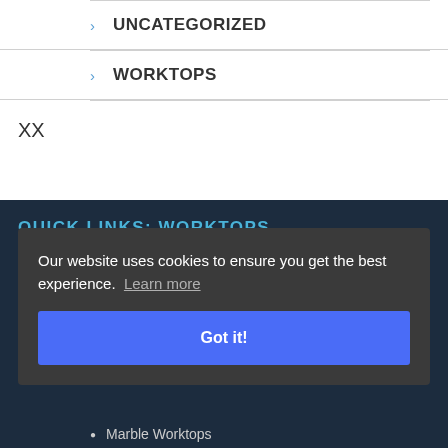UNCATEGORIZED
WORKTOPS
XX
QUICK LINKS: WORKTOPS
Our website uses cookies to ensure you get the best experience. Learn more
Got it!
Marble Worktops